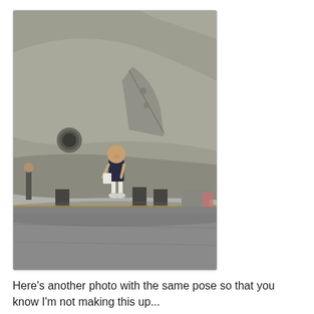[Figure (photo): A child standing beneath the massive fuselage of a large military cargo aircraft (appears to be a C-5 or similar), viewed from a low angle on the tarmac. The aircraft's gray underbelly dominates the upper portion of the image, dwarfing the small child below. The child is wearing a dark shirt and white shorts/pants, looking downward. Landing gear and other people are partially visible in the background.]
Here's another photo with the same pose so that you know I'm not making this up...